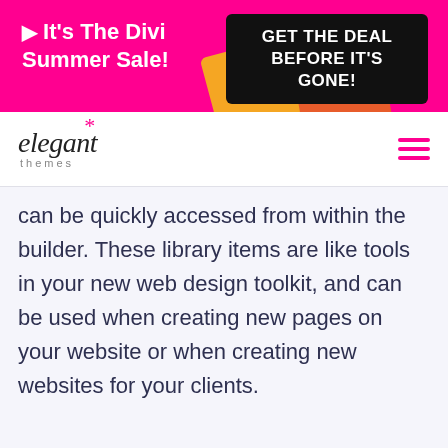[Figure (infographic): Hot pink promotional banner for Divi Summer Sale with black button 'GET THE DEAL BEFORE IT'S GONE!' and decorative shapes in orange and red-orange.]
[Figure (logo): Elegant Themes logo — italic serif 'elegant' with pink asterisk above 't', small 'themes' label below, and pink hamburger menu icon on the right.]
can be quickly accessed from within the builder. These library items are like tools in your new web design toolkit, and can be used when creating new pages on your website or when creating new websites for your clients.
If you were a Divi user before the update,